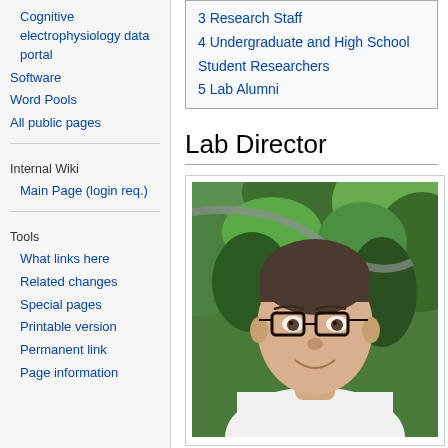Cognitive electrophysiology data portal
Software
Word Pools
All public pages
Internal Wiki
Main Page (login req.)
Tools
What links here
Related changes
Special pages
Printable version
Permanent link
Page information
3 Research Staff
4 Undergraduate and High School Student Researchers
5 Lab Alumni
Lab Director
[Figure (photo): Photo of a man with short dark hair wearing glasses and a white shirt, smiling, with green foliage in the background]